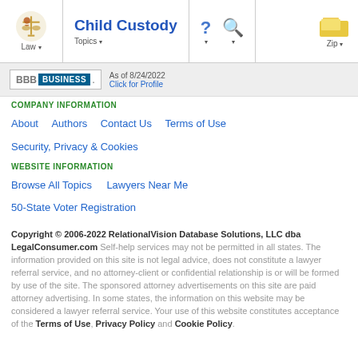Child Custody | Law | Topics | ? | Q | Zip
[Figure (logo): BBB Business badge with 'As of 8/24/2022 Click for Profile']
COMPANY INFORMATION
About   Authors   Contact Us   Terms of Use   Security, Privacy & Cookies
WEBSITE INFORMATION
Browse All Topics   Lawyers Near Me   50-State Voter Registration
Copyright © 2006-2022 RelationalVision Database Solutions, LLC dba LegalConsumer.com Self-help services may not be permitted in all states. The information provided on this site is not legal advice, does not constitute a lawyer referral service, and no attorney-client or confidential relationship is or will be formed by use of the site. The sponsored attorney advertisements on this site are paid attorney advertising. In some states, the information on this website may be considered a lawyer referral service. Your use of this website constitutes acceptance of the Terms of Use, Privacy Policy and Cookie Policy.